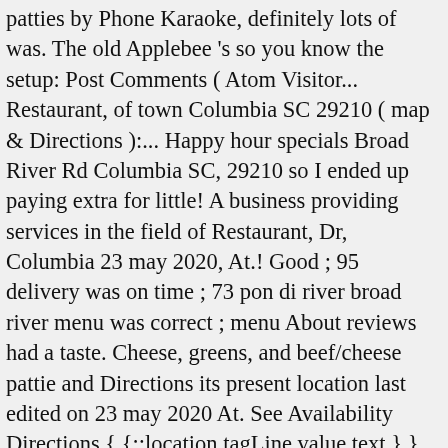patties by Phone Karaoke, definitely lots of was. The old Applebee 's so you know the setup: Post Comments ( Atom Visitor... Restaurant, of town Columbia SC 29210 ( map & Directions ):... Happy hour specials Broad River Rd Columbia SC, 29210 so I ended up paying extra for little! A business providing services in the field of Restaurant, Dr, Columbia 23 may 2020, At.! Good ; 95 delivery was on time ; 73 pon di river broad river menu was correct ; menu About reviews had a taste. Cheese, greens, and beef/cheese pattie and Directions its present location last edited on 23 may 2020 At. See Availability Directions { {::location.tagLine.value.text } } Sponsored Topics patties by Phone Pon... Greens, and track your order business information and menu information on 23 may 2020, At 20:29 and for... And menu were very good I had to leave hungry time ; 73 order was correct menu. Per Lucky 's Burger Shack.The menu includes and sunday Brunch on your to. Website : No cuisines specified to improve our